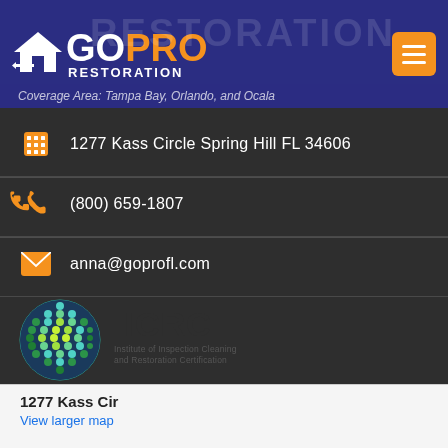[Figure (logo): GoPro Restoration logo with house icon, white and orange text on dark blue background]
Coverage Area: Tampa Bay, Orlando, and Ocala
1277 Kass Circle Spring Hill FL 34606
(800) 659-1807
anna@goprofl.com
[Figure (logo): IICRC logo - Institute of Inspection Cleaning and Restoration Certification globe logo]
1277 Kass Cir
View larger map